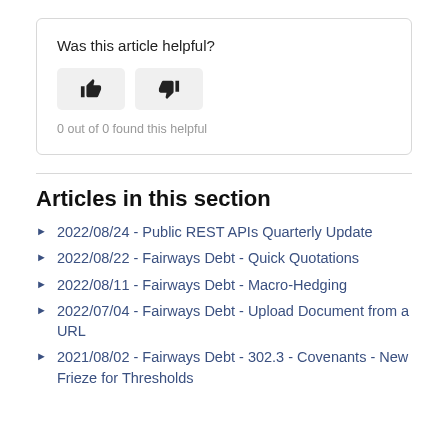Was this article helpful?
0 out of 0 found this helpful
Articles in this section
2022/08/24 - Public REST APIs Quarterly Update
2022/08/22 - Fairways Debt - Quick Quotations
2022/08/11 - Fairways Debt - Macro-Hedging
2022/07/04 - Fairways Debt - Upload Document from a URL
2021/08/02 - Fairways Debt - 302.3 - Covenants - New Frieze for Thresholds